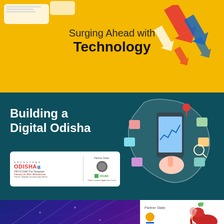[Figure (illustration): Yellow/gold banner with 'Surging Ahead with Technology' text and colorful arrow icons on the right, speech bubbles on left]
[Figure (illustration): Dark teal banner with 'Building a Digital Odisha' text, Odisha Infocomm/OCAC logos, and a digital technology illustration of India map with smartphone and app icons]
[Figure (illustration): Bottom section split: left half shows dark blue/purple circuit board diagonal lines background; right half shows white background with Partner State: Momentum Jharkhand 2018 logo with elephant mascot]